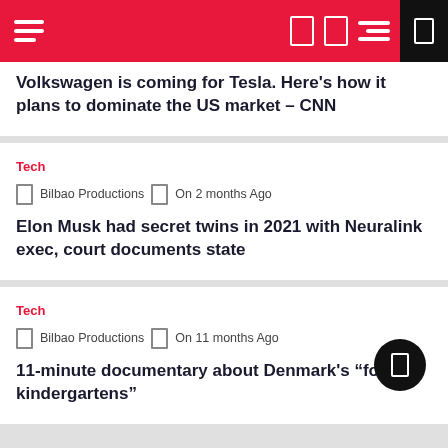Navigation bar with hamburger menu and icons
Volkswagen is coming for Tesla. Here's how it plans to dominate the US market – CNN
Tech
Bilbao Productions  On 2 months Ago
Elon Musk had secret twins in 2021 with Neuralink exec, court documents state
Tech
Bilbao Productions  On 11 months Ago
11-minute documentary about Denmark's "forest kindergartens"